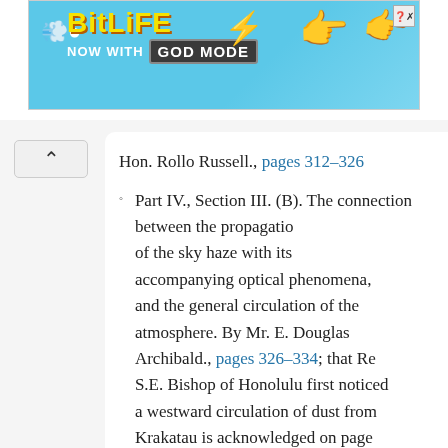[Figure (screenshot): BitLife game advertisement banner with blue background, showing 'BitLife NOW WITH GOD MODE' text, cartoon sperm mascot, hand pointing, lightning bolt, and close button.]
Hon. Rollo Russell., pages 312–326
Part IV., Section III. (B). The connection between the propagation of the sky haze with its accompanying optical phenomena, and the general circulation of the atmosphere. By Mr. E. Douglas Archibald., pages 326–334; that Rev S.E. Bishop of Honolulu first noticed a westward circulation of dust from Krakatau is acknowledged on page 333.